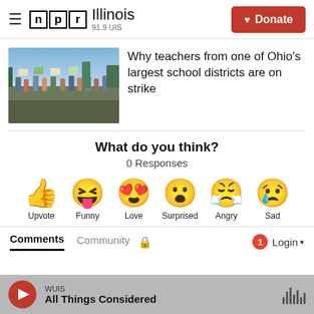NPR Illinois 91.9 UIS | Donate
[Figure (photo): Protest march photo showing people walking with signs outdoors]
Why teachers from one of Ohio's largest school districts are on strike
What do you think?
0 Responses
[Figure (infographic): Emoji reaction buttons: Upvote (thumbs up), Funny (laughing face), Love (heart eyes), Surprised (surprised face), Angry (crying angry face), Sad (sad face with tear)]
Comments  Community  🔒  Login
WUIS — All Things Considered